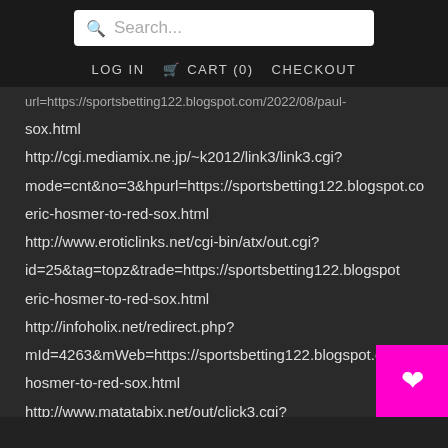Search... LOG IN CART (0) CHECKOUT
url=https://sportsbetting122.blogspot.com/2022/08/paul-red-sox.html
http://cgi.mediamix.ne.jp/~k2012/link3/link3.cgi?mode=cnt&no=3&hpurl=https://sportsbetting122.blogspot.com/2022/08/eric-hosmer-to-red-sox.html
http://www.eroticlinks.net/cgi-bin/atx/out.cgi?id=25&tag=topz&trade=https://sportsbetting122.blogspot.com/2022/08/eric-hosmer-to-red-sox.html
http://infoholix.net/redirect.php?mId=4263&mWeb=https://sportsbetting122.blogspot.com/2022/08/eric-hosmer-to-red-sox.html
http://www.matatabix.net/out/click3.cgi?cnt=eroshocker&url=https://sportsbetting122.blogspot.com/2022/08/eric-hosmer-to-red-sox.html
http://www.ratsoff.net/blog/nav?
target=https://sportsbetting122.blogspot.com/2022/08/